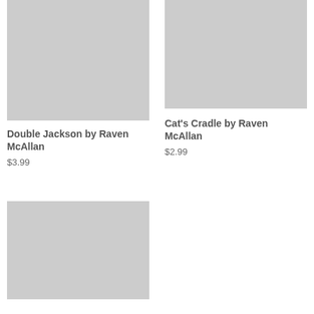[Figure (photo): Book cover placeholder - gray rectangle for Double Jackson by Raven McAllan]
[Figure (photo): Book cover placeholder - gray rectangle for Cat's Cradle by Raven McAllan]
Double Jackson by Raven McAllan
$3.99
Cat's Cradle by Raven McAllan
$2.99
[Figure (photo): Book cover placeholder - gray rectangle (third book, partially visible)]